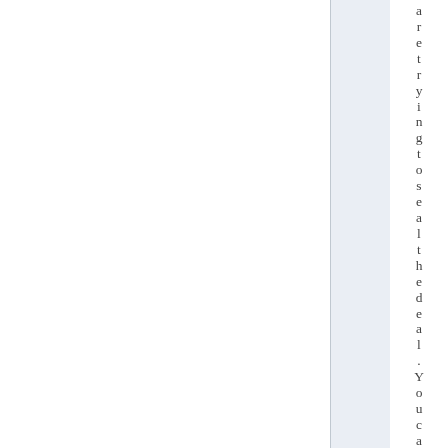are trying to seal the deal. You can of